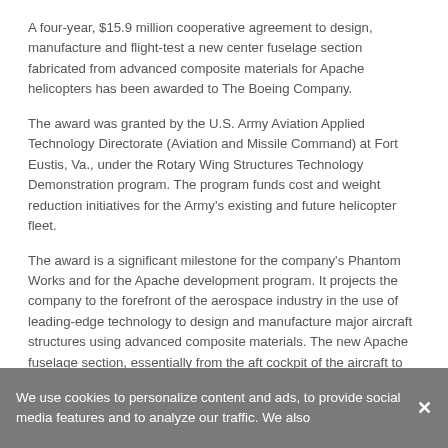A four-year, $15.9 million cooperative agreement to design, manufacture and flight-test a new center fuselage section fabricated from advanced composite materials for Apache helicopters has been awarded to The Boeing Company.
The award was granted by the U.S. Army Aviation Applied Technology Directorate (Aviation and Missile Command) at Fort Eustis, Va., under the Rotary Wing Structures Technology Demonstration program. The program funds cost and weight reduction initiatives for the Army's existing and future helicopter fleet.
The award is a significant milestone for the company's Phantom Works and for the Apache development program. It projects the company to the forefront of the aerospace industry in the use of leading-edge technology to design and manufacture major aircraft structures using advanced composite materials. The new Apache fuselage section, essentially from the aft cockpit of the aircraft to just behind the engines, will be lighter, stronger and easier to manufacture than the existing all-metal structure.
"This is a major success for the Phantom Works and for the
We use cookies to personalize content and ads, to provide social media features and to analyze our traffic. We also